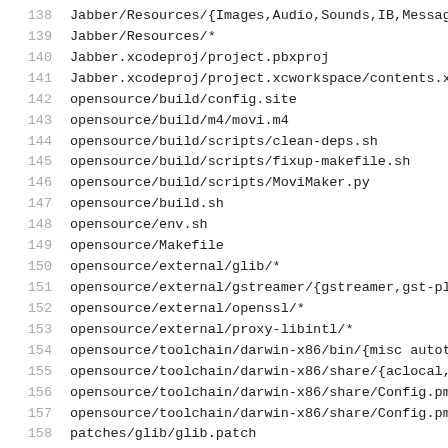138  Jabber/Resources/{Images,Audio,Sounds,IB,Message
139  Jabber/Resources/*
140  Jabber.xcodeproj/project.pbxproj
141  Jabber.xcodeproj/project.xcworkspace/contents.xc
142  opensource/build/config.site
143  opensource/build/m4/movi.m4
144  opensource/build/scripts/clean-deps.sh
145  opensource/build/scripts/fixup-makefile.sh
146  opensource/build/scripts/MoviMaker.py
147  opensource/build.sh
148  opensource/env.sh
149  opensource/Makefile
150  opensource/external/glib/*
151  opensource/external/gstreamer/{gstreamer,gst-plu
152  opensource/external/openssl/*
153  opensource/external/proxy-libintl/*
154  opensource/toolchain/darwin-x86/bin/{misc autot
155  opensource/toolchain/darwin-x86/share/{aclocal,a
156  opensource/toolchain/darwin-x86/share/Config.pm
157  opensource/toolchain/darwin-x86/share/Config.pm
158  patches/glib/glib.patch
159  patches/gst-plugins-bad/gst-plugins-bad.patch